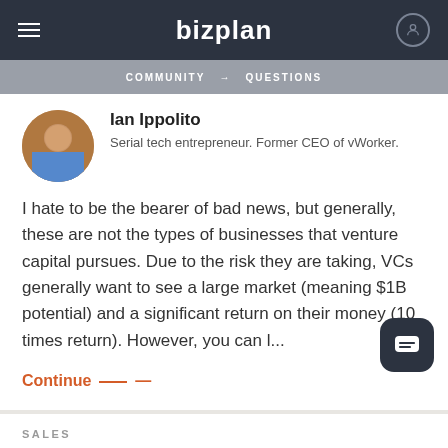bizplan
COMMUNITY → QUESTIONS
Ian Ippolito
Serial tech entrepreneur. Former CEO of vWorker.
I hate to be the bearer of bad news, but generally, these are not the types of businesses that venture capital pursues. Due to the risk they are taking, VCs generally want to see a large market (meaning $1B potential) and a significant return on their money (10 times return). However, you can l...
Continue —
SALES